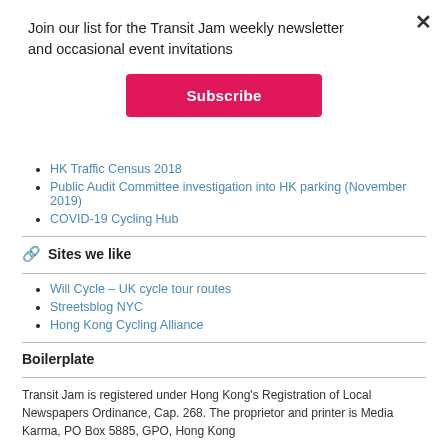Join our list for the Transit Jam weekly newsletter and occasional event invitations
Subscribe
HK Traffic Census 2018
Public Audit Committee investigation into HK parking (November 2019)
COVID-19 Cycling Hub
Sites we like
Will Cycle – UK cycle tour routes
Streetsblog NYC
Hong Kong Cycling Alliance
Boilerplate
Transit Jam is registered under Hong Kong's Registration of Local Newspapers Ordinance, Cap. 268. The proprietor and printer is Media Karma, PO Box 5885, GPO, Hong Kong